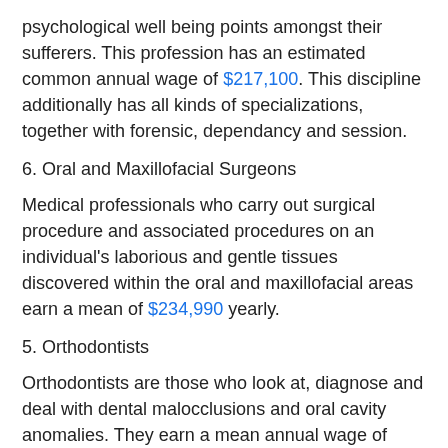psychological well being points amongst their sufferers. This profession has an estimated common annual wage of $217,100. This discipline additionally has all kinds of specializations, together with forensic, dependancy and session.
6. Oral and Maxillofacial Surgeons
Medical professionals who carry out surgical procedure and associated procedures on an individual's laborious and gentle tissues discovered within the oral and maxillofacial areas earn a mean of $234,990 yearly.
5. Orthodontists
Orthodontists are those who look at, diagnose and deal with dental malocclusions and oral cavity anomalies. They earn a mean annual wage of $237,990.
4. Obstetricians Gynecologists